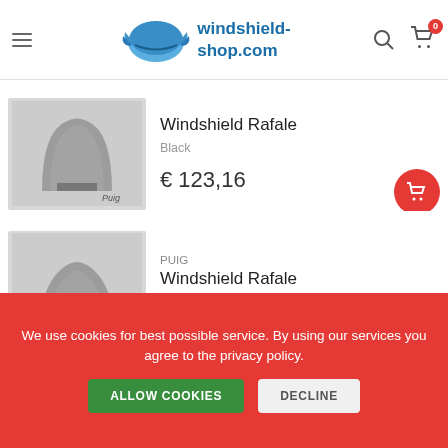windshield-shop.com
Windshield Rafale
Black
€ 123,16
PUIG
Windshield Rafale
Red
€ 123,16
We use cookies for best possible service. By using our services you agree to the privacy policy.
ALLOW COOKIES  DECLINE